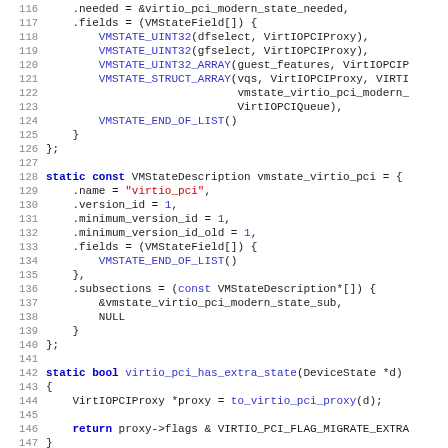[Figure (screenshot): Source code listing in C showing VMStateDescription definitions and a static bool function, with syntax highlighting. Lines 115-147 visible.]